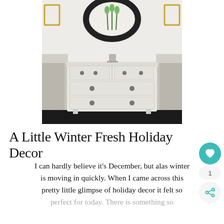[Figure (photo): Interior photo of a white painted dresser with dark hardware, flanked by two upholstered chairs, with a large round mirror and flower arrangement on top, against a white wall with gold-framed art]
A Little Winter Fresh Holiday Decor
I can hardly believe it's December, but alas winter is moving in quickly. When I came across this pretty little glimpse of holiday decor it felt so perfect for today. There is something so